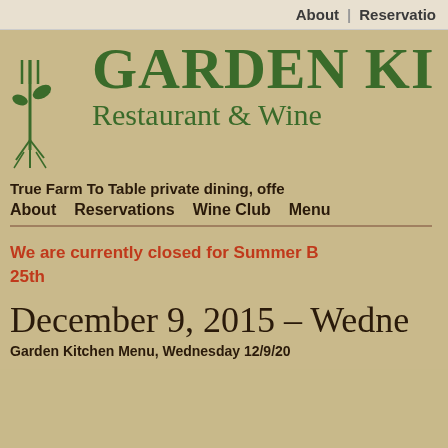About | Reservatio
GARDEN KITC / Restaurant & Wine
True Farm To Table private dining, offe
About   Reservations   Wine Club   Menu
We are currently closed for Summer B... 25th
December 9, 2015 – Wedne
Garden Kitchen Menu, Wednesday 12/9/20